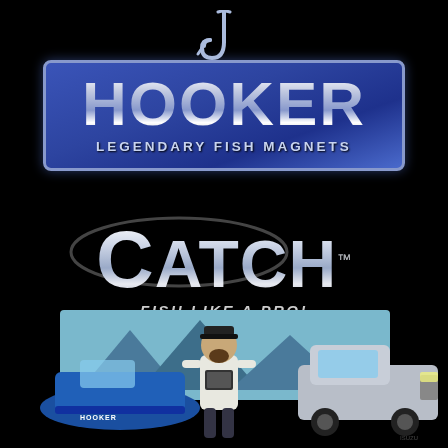[Figure (logo): Hooker Legendary Fish Magnets logo — blue rectangle with silver metallic 'HOOKER' text, a fishing hook above, and 'LEGENDARY FISH MAGNETS' subtitle in silver]
[Figure (logo): CATCH logo with large silver metallic text and tagline 'FISH LIKE A PRO!' in italic white letters, with a swooping oval C element]
[Figure (illustration): Cartoon illustration of a bearded man in fishing gear standing between a blue motorboat (labelled HOOKER) on the left and a silver Isuzu ute on the right, with a lake and mountains in the background]